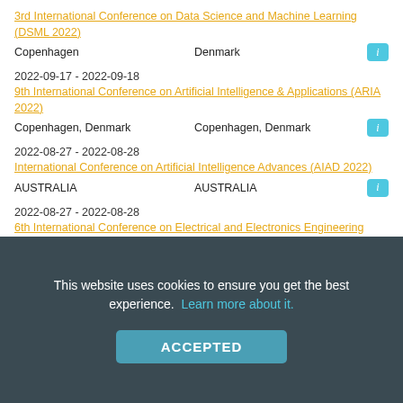3rd International Conference on Data Science and Machine Learning (DSML 2022)
Copenhagen    Denmark
2022-09-17 - 2022-09-18
9th International Conference on Artificial Intelligence & Applications (ARIA 2022)
Copenhagen, Denmark    Copenhagen, Denmark
2022-08-27 - 2022-08-28
International Conference on Artificial Intelligence Advances (AIAD 2022)
AUSTRALIA    AUSTRALIA
2022-08-27 - 2022-08-28
6th International Conference on Electrical and Electronics Engineering (EEEN 2022)
Virtual    Online
This website uses cookies to ensure you get the best experience. Learn more about it.
ACCEPTED